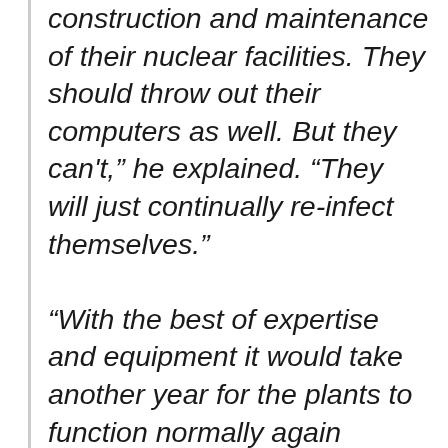construction and maintenance of their nuclear facilities. They should throw out their computers as well. But they can't," he explained. "They will just continually re-infect themselves."

"With the best of expertise and equipment it would take another year for the plants to function normally again because it is so hard to get the worm out. It even hides in the back-up systems. But they can't do it," he said.